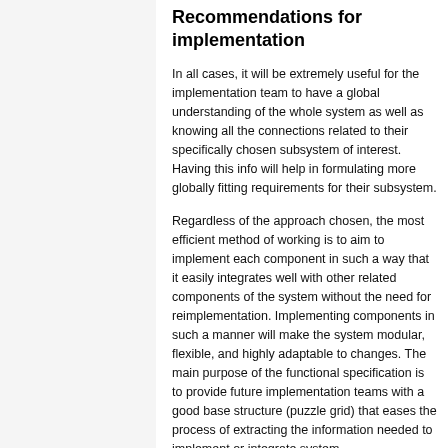Recommendations for implementation
In all cases, it will be extremely useful for the implementation team to have a global understanding of the whole system as well as knowing all the connections related to their specifically chosen subsystem of interest. Having this info will help in formulating more globally fitting requirements for their subsystem.
Regardless of the approach chosen, the most efficient method of working is to aim to implement each component in such a way that it easily integrates well with other related components of the system without the need for reimplementation. Implementing components in such a manner will make the system modular, flexible, and highly adaptable to changes. The main purpose of the functional specification is to provide future implementation teams with a good base structure (puzzle grid) that eases the process of extracting the information needed to implement or integrate system